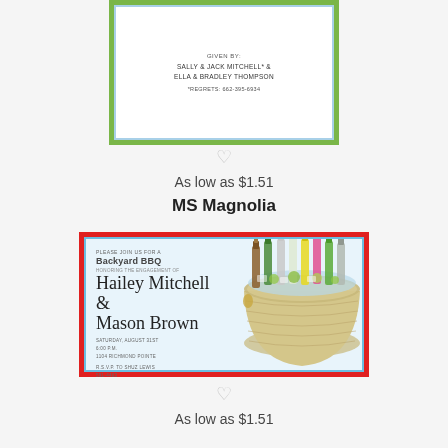[Figure (illustration): Top portion of a party invitation card with green border, blue inner border, showing 'Given by: Sally & Jack Mitchell* & Ella & Bradley Thompson' and '*Regrets: 662-395-6934']
[Figure (illustration): Gray heart icon]
As low as $1.51
MS Magnolia
[Figure (illustration): BBQ party invitation card with red border and blue inner border. Left side shows text: 'Please join us for a Backyard BBQ honoring the engagement of Hailey Mitchell & Mason Brown, Saturday, August 31st, 6:00 P.M., 1104 Richmond Pointe, R.S.V.P. to Shuz Lewis 591-4463'. Right side shows illustration of a large metal bucket/tub filled with ice and assorted colorful bottles.]
[Figure (illustration): Gray heart icon]
As low as $1.51